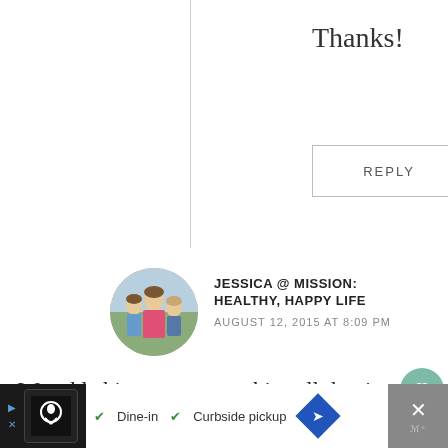Thanks!
REPLY
[Figure (photo): Circular avatar photo of a family (woman in red/pink with children), used as commenter profile picture]
JESSICA @ MISSION: HEALTHY, HAPPY LIFE
AUGUST 12, 2015 AT 8:09 PM
We add chia to our smoothies all the time, but I've never tried chia pudding. I'm intrigued! Does the gelatin have a flavor/texture to it?
[Figure (screenshot): Ad bar at the bottom: restaurant ad with chef logo, Dine-in, Curbside pickup options]
Dine-in  ✓ Curbside pickup